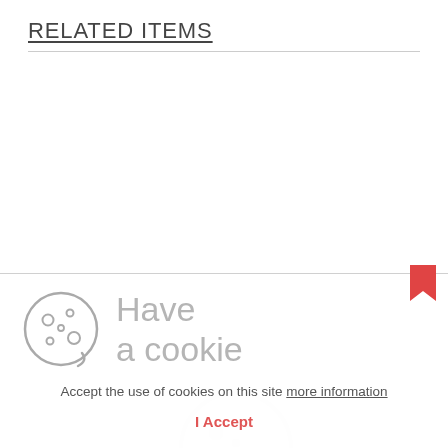RELATED ITEMS
[Figure (illustration): Cookie consent popup with cookie icon and text]
Have a cookie
Accept the use of cookies on this site more information
I Accept